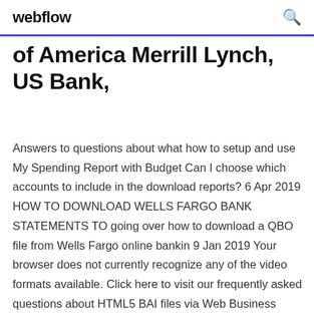webflow
of America Merrill Lynch, US Bank,
Answers to questions about what how to setup and use My Spending Report with Budget Can I choose which accounts to include in the download reports? 6 Apr 2019 HOW TO DOWNLOAD WELLS FARGO BANK STATEMENTS TO going over how to download a QBO file from Wells Fargo online bankin 9 Jan 2019 Your browser does not currently recognize any of the video formats available. Click here to visit our frequently asked questions about HTML5 BAI files via Web Business Banking Balance Reporting include the following types of